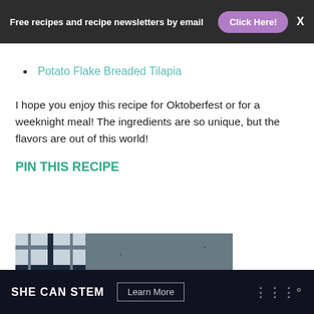Free recipes and recipe newsletters by email  Click Here!  X
Potato Flake Breaded Tilapia
I hope you enjoy this recipe for Oktoberfest or for a weeknight meal! The ingredients are so unique, but the flavors are out of this world!
PIN THIS RECIPE
[Figure (photo): Partial view of a food photo — a plaid cloth and what appears to be a plate or bowl on a dark surface]
[Figure (infographic): Ad banner: SHE CAN STEM  Learn More  (Verizon logo)]